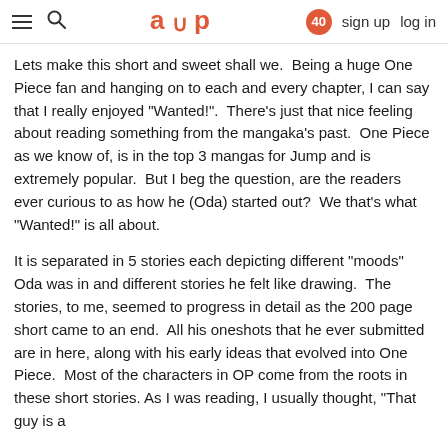≡  🔍  a∪p  40  sign up  log in
Lets make this short and sweet shall we.  Being a huge One Piece fan and hanging on to each and every chapter, I can say that I really enjoyed "Wanted!".  There's just that nice feeling about reading something from the mangaka's past.  One Piece as we know of, is in the top 3 mangas for Jump and is extremely popular.  But I beg the question, are the readers ever curious to as how he (Oda) started out?  We that's what "Wanted!" is all about.
It is separated in 5 stories each depicting different "moods" Oda was in and different stories he felt like drawing.  The stories, to me, seemed to progress in detail as the 200 page short came to an end.  All his oneshots that he ever submitted are in here, along with his early ideas that evolved into One Piece.  Most of the characters in OP come from the roots in these short stories. As I was reading, I usually thought, "That guy is a